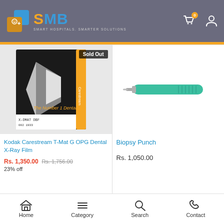[Figure (logo): SMB Smart Hospitals Smarter Solutions logo with colorful cube icon]
[Figure (photo): Kodak Carestream T-Mat G OPG Dental X-Ray Film product box with Sold Out badge]
Sold Out
Kodak Carestream T-Mat G OPG Dental X-Ray Film
Rs. 1,350.00 Rs. 1,756.00
23% off
[Figure (photo): Biopsy Punch tool - teal/mint colored cylindrical medical instrument]
Biopsy Punch
Rs. 1,050.00
Home  Category  Search  Contact